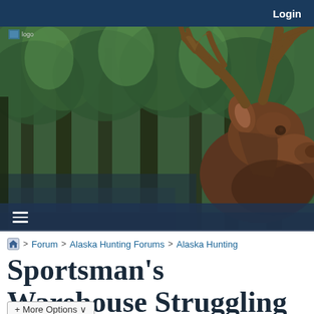Login
[Figure (photo): A moose with large antlers standing in front of a dense green forest background. The moose occupies the right side of the image, with its head and antlers clearly visible against the green tree backdrop.]
≡
🏠 > Forum > Alaska Hunting Forums > Alaska Hunting
Sportsman's Warehouse Struggling
+ More Options ∨